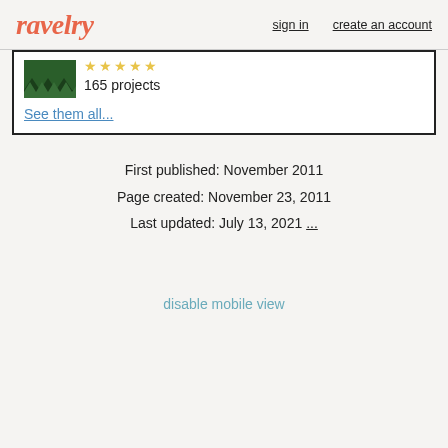ravelry   sign in   create an account
[Figure (photo): Thumbnail image of a knitted or crocheted item in dark green with zigzag pattern, with 5 gold star ratings and '165 projects' text. Includes 'See them all...' link.]
First published: November 2011
Page created: November 23, 2011
Last updated: July 13, 2021 ...
disable mobile view